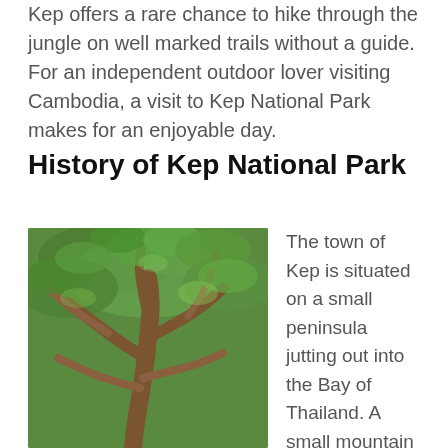Kep offers a rare chance to hike through the jungle on well marked trails without a guide. For an independent outdoor lover visiting Cambodia, a visit to Kep National Park makes for an enjoyable day.
History of Kep National Park
[Figure (photo): Photo of a large jungle tree with spreading branches and green foliage, taken looking up from below, in Kep National Park, Cambodia.]
The town of Kep is situated on a small peninsula jutting out into the Bay of Thailand. A small mountain looms above the sea, with